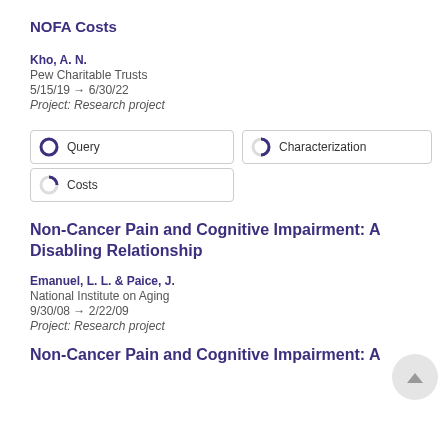NOFA Costs
Kho, A. N.
Pew Charitable Trusts
5/15/19 → 6/30/22
Project: Research project
[Figure (infographic): Three badge/pill elements: Query (purple circle icon), Characterization (half-filled circle icon), Costs (quarter-filled circle icon)]
Non-Cancer Pain and Cognitive Impairment: A Disabling Relationship
Emanuel, L. L. & Paice, J.
National Institute on Aging
9/30/08 → 2/22/09
Project: Research project
Non-Cancer Pain and Cognitive Impairment: A